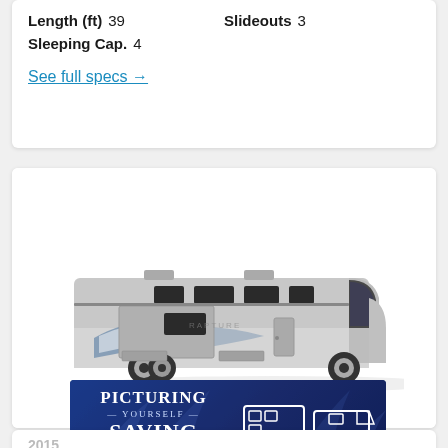Length (ft)  39    Slideouts  3
Sleeping Cap.  4
See full specs →
[Figure (photo): Side profile photo of a large Class A motorhome RV, silver/grey color with blue and white swoosh graphics on the side, multiple slideouts visible, parked on white background.]
[Figure (illustration): GEICO advertisement banner with dark blue background showing truck towing RV graphic. Text reads: PICTURE YOURSELF SAVING MONEY. GET A QUOTE. GEICO FOR YOUR RV.]
2015
Type
Lengu